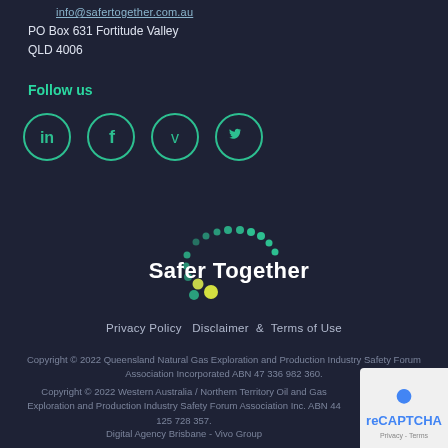info@safertogether.com.au
PO Box 631 Fortitude Valley
QLD 4006
Follow us
[Figure (other): Social media icons: LinkedIn, Facebook, Vimeo, Twitter — each in a circular teal border]
[Figure (logo): Safer Together logo — circular arc of green dots with yellow dots at bottom and 'Safer Together' text in white]
Privacy Policy  Disclaimer & Terms of Use
Copyright © 2022 Queensland Natural Gas Exploration and Production Industry Safety Forum Association Incorporated ABN 47 336 982 360.
Copyright © 2022 Western Australia / Northern Territory Oil and Gas Exploration and Production Industry Safety Forum Association Inc. ABN 44 125 728 357.
Digital Agency Brisbane - Vivo Group